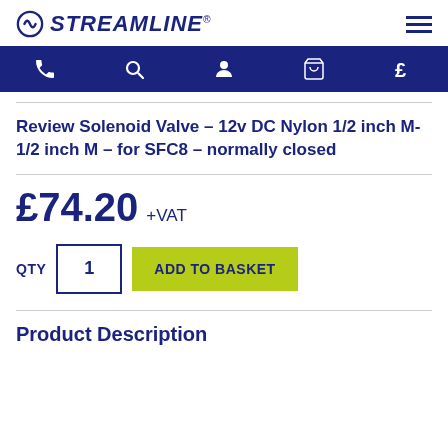STREAMLINE
Review Solenoid Valve – 12v DC Nylon 1/2 inch M-1/2 inch M – for SFC8 – normally closed
£74.20 +VAT
QTY 1 ADD TO BASKET
Product Description